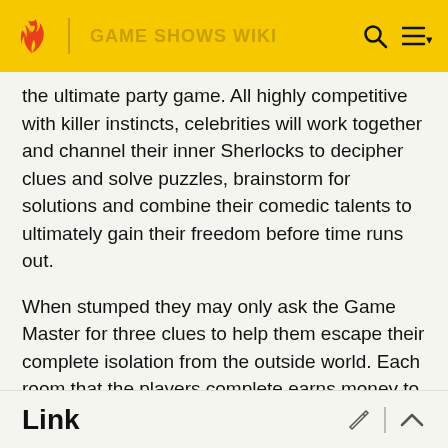GAME SHOWS WIKI
the ultimate party game. All highly competitive with killer instincts, celebrities will work together and channel their inner Sherlocks to decipher clues and solve puzzles, brainstorm for solutions and combine their comedic talents to ultimately gain their freedom before time runs out.
When stumped they may only ask the Game Master for three clues to help them escape their complete isolation from the outside world. Each room that the players complete earns money to be donated to Red Nose Day.
Link